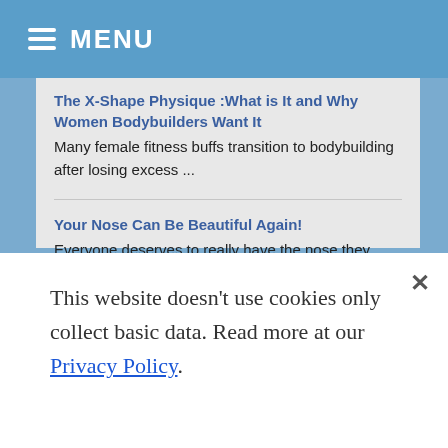MENU
The X-Shape Physique :What is It and Why Women Bodybuilders Want It
Many female fitness buffs transition to bodybuilding after losing excess ...
Your Nose Can Be Beautiful Again!
Everyone deserves to really have the nose they want. But ...
Laser Liposuction – Who are Eligible for this Laser Fat Removal Process?
Obesity can reach a stage of developing fatty lumps or ...
Categories
This website doesn't use cookies only collect basic data. Read more at our Privacy Policy.